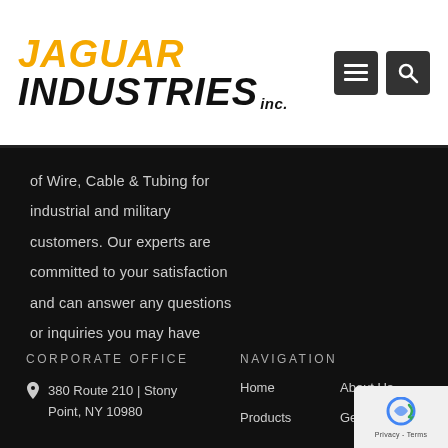JAGUAR INDUSTRIES inc.
of Wire, Cable & Tubing for industrial and military customers. Our experts are committed to your satisfaction and can answer any questions or inquiries you may have about wires and cables.
CORPORATE OFFICE
NAVIGATION
380 Route 210 | Stony Point, NY 10980
Home
About Us
Products
Get A Quote